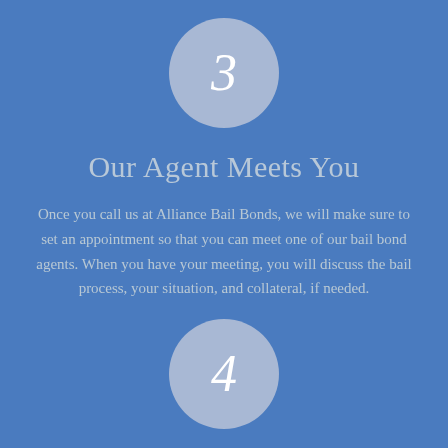[Figure (infographic): Light blue circle with italic white numeral 3 inside, positioned at top center]
Our Agent Meets You
Once you call us at Alliance Bail Bonds, we will make sure to set an appointment so that you can meet one of our bail bond agents. When you have your meeting, you will discuss the bail process, your situation, and collateral, if needed.
[Figure (infographic): Light blue circle with italic white numeral 4 inside, positioned at bottom center]